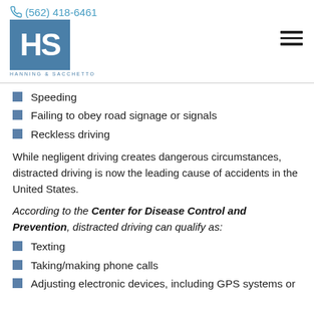(562) 418-6461 | Hanning & Sacchetto logo
Speeding
Failing to obey road signage or signals
Reckless driving
While negligent driving creates dangerous circumstances, distracted driving is now the leading cause of accidents in the United States.
According to the Center for Disease Control and Prevention, distracted driving can qualify as:
Texting
Taking/making phone calls
Adjusting electronic devices, including GPS systems or